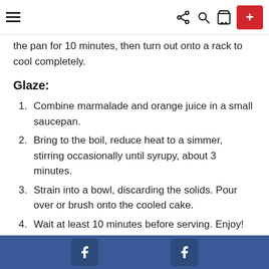[hamburger menu] [share icon] [search icon] [cart icon] [+ button]
the pan for 10 minutes, then turn out onto a rack to cool completely.
Glaze:
1. Combine marmalade and orange juice in a small saucepan.
2. Bring to the boil, reduce heat to a simmer, stirring occasionally until syrupy, about 3 minutes.
3. Strain into a bowl, discarding the solids. Pour over or brush onto the cooled cake.
4. Wait at least 10 minutes before serving. Enjoy!
[Facebook icon] [Facebook icon]